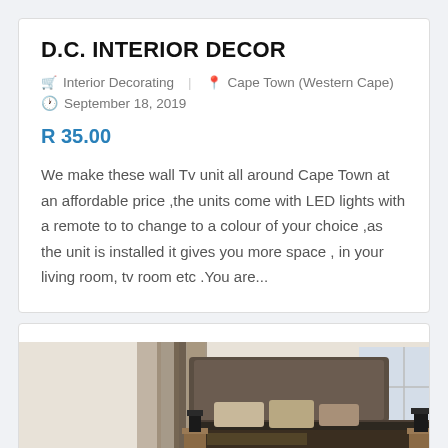D.C. INTERIOR DECOR
Interior Decorating   Cape Town (Western Cape)
September 18, 2019
R 35.00
We make these wall Tv unit all around Cape Town at an affordable price ,the units come with LED lights with a remote to to change to a colour of your choice ,as the unit is installed it gives you more space , in your living room, tv room etc .You are...
[Figure (photo): Bedroom interior with dark headboard, decorative pillows, bedside lamps, and curtains]